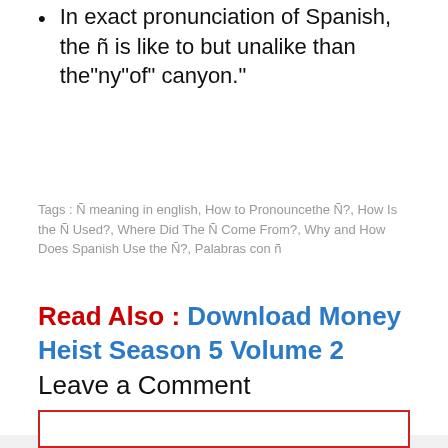In exact pronunciation of Spanish, the ñ is like to but unalike than the "ny" of canyon."
Tags : Ñ meaning in english, How to Pronouncethe Ñ?, How Is the Ñ Used?, Where Did The Ñ Come From?, Why and How Does Spanish Use the Ñ?, Palabras con ñ
Read Also : Download Money Heist Season 5 Volume 2
Leave a Comment